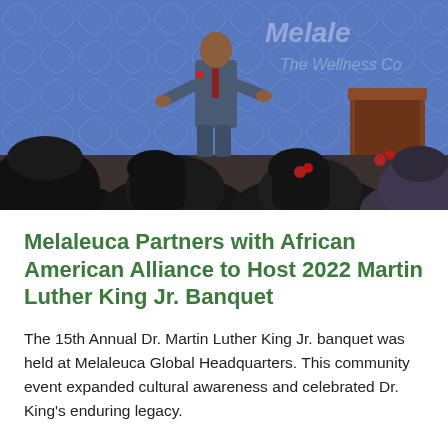[Figure (photo): A speaker in a grey suit stands on a stage with a blue textured backdrop showing the Melaleuca The Wellness Company logo and wordmark. An audience is seated in the foreground with their backs to the camera, including people with long dark hair. A wooden podium is visible on the right side of the stage.]
Melaleuca Partners with African American Alliance to Host 2022 Martin Luther King Jr. Banquet
The 15th Annual Dr. Martin Luther King Jr. banquet was held at Melaleuca Global Headquarters. This community event expanded cultural awareness and celebrated Dr. King's enduring legacy.